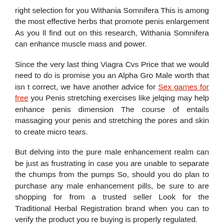right selection for you Withania Somnifera This is among the most effective herbs that promote penis enlargement As you ll find out on this research, Withania Somnifera can enhance muscle mass and power.
Since the very last thing Viagra Cvs Price that we would need to do is promise you an Alpha Gro Male worth that isn t correct, we have another advice for Sex games for free you Penis stretching exercises like jelqing may help enhance penis dimension The course of entails massaging your penis and stretching the pores and skin to create micro tears.
But delving into the pure male enhancement realm can be just as frustrating in case you are unable to separate the chumps from the pumps So, should you do plan to purchase any male enhancement pills, be sure to are shopping for from a trusted seller Look for the Traditional Herbal Registration brand when you can to verify the product you re buying is properly regulated.
There are numerous pure plant extracts that are